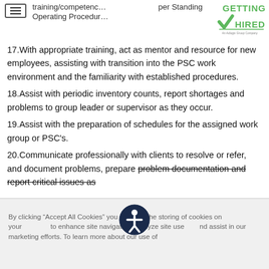training/competency per Standing Operating Procedure
[Figure (logo): Getting Hired logo - green text with checkmark, 'An Adlogix Group Company' tagline]
17. With appropriate training, act as mentor and resource for new employees, assisting with transition into the PSC work environment and the familiarity with established procedures.
18. Assist with periodic inventory counts, report shortages and problems to group leader or supervisor as they occur.
19. Assist with the preparation of schedules for the assigned work group or PSC's.
20. Communicate professionally with clients to resolve or refer, and document problems, prepare problem documentation and report critical issues as
By clicking “Accept All Cookies” you agree to the storing of cookies on your device to enhance site navigation, analyze site usage, and assist in our marketing efforts. To learn more about our use of